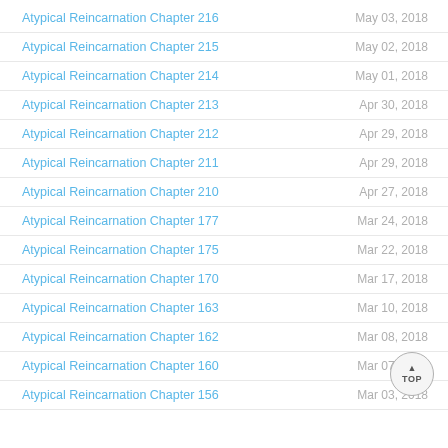Atypical Reincarnation Chapter 216 | May 03, 2018
Atypical Reincarnation Chapter 215 | May 02, 2018
Atypical Reincarnation Chapter 214 | May 01, 2018
Atypical Reincarnation Chapter 213 | Apr 30, 2018
Atypical Reincarnation Chapter 212 | Apr 29, 2018
Atypical Reincarnation Chapter 211 | Apr 29, 2018
Atypical Reincarnation Chapter 210 | Apr 27, 2018
Atypical Reincarnation Chapter 177 | Mar 24, 2018
Atypical Reincarnation Chapter 175 | Mar 22, 2018
Atypical Reincarnation Chapter 170 | Mar 17, 2018
Atypical Reincarnation Chapter 163 | Mar 10, 2018
Atypical Reincarnation Chapter 162 | Mar 08, 2018
Atypical Reincarnation Chapter 160 | Mar 07, 2018
Atypical Reincarnation Chapter 156 | Mar 03, 2018